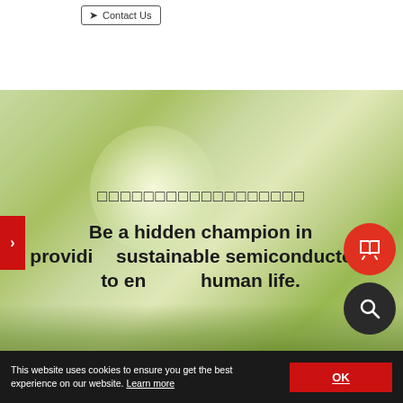Contact Us
[Figure (screenshot): Hero banner with blurred green bokeh background showing plants and flowers, with navigation arrow on left side]
□□□□□□□□□□□□□□□□□□
Be a hidden champion in providing sustainable semiconductors to enhance human life.
[Figure (illustration): Red circle icon with open book/catalog symbol]
[Figure (illustration): Dark circle icon with magnifying glass search symbol]
This website uses cookies to ensure you get the best experience on our website. Learn more
OK